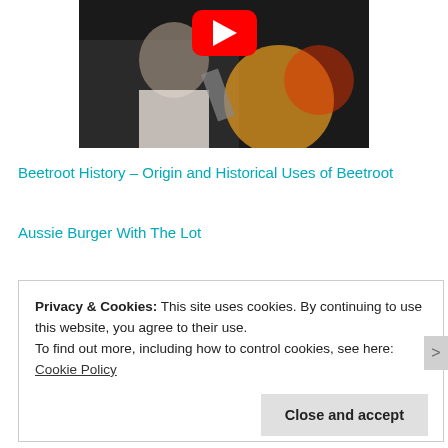[Figure (screenshot): YouTube video thumbnail showing a man with a mustache holding a microphone, with a YouTube play button overlay. Dark background.]
Beetroot History – Origin and Historical Uses of Beetroot
Aussie Burger With The Lot
Privacy & Cookies: This site uses cookies. By continuing to use this website, you agree to their use.
To find out more, including how to control cookies, see here: Cookie Policy
Close and accept